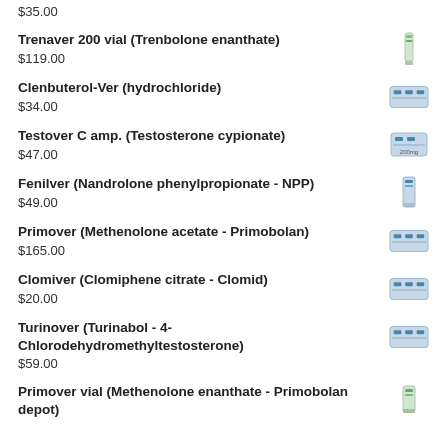$35.00
Trenaver 200 vial (Trenbolone enanthate)
$119.00
Clenbuterol-Ver (hydrochloride)
$34.00
Testover C amp. (Testosterone cypionate)
$47.00
Fenilver (Nandrolone phenylpropionate - NPP)
$49.00
Primover (Methenolone acetate - Primobolan)
$165.00
Clomiver (Clomiphene citrate - Clomid)
$20.00
Turinover (Turinabol - 4-Chlorodehydromethyltestosterone)
$59.00
Primover vial (Methenolone enanthate - Primobolan depot)